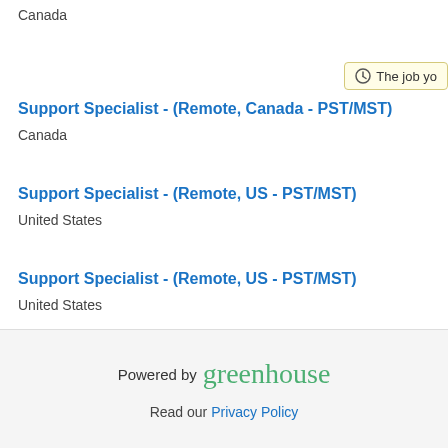Canada
Support Specialist - (Remote, Canada - PST/MST)
Canada
Support Specialist - (Remote, US - PST/MST)
United States
Support Specialist - (Remote, US - PST/MST)
United States
Frontline Support
Support Specialist (Remote, Croatia)
Croatia
Powered by greenhouse
Read our Privacy Policy